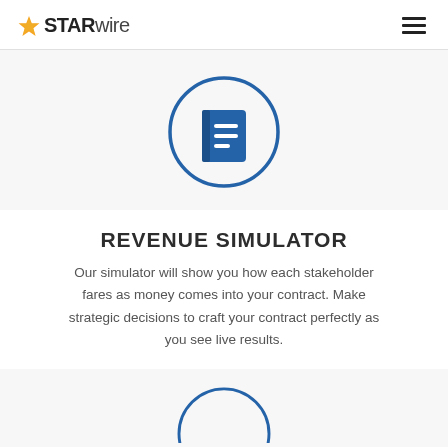STARWIRE
[Figure (illustration): A blue outlined circle containing a blue book/document icon]
REVENUE SIMULATOR
Our simulator will show you how each stakeholder fares as money comes into your contract. Make strategic decisions to craft your contract perfectly as you see live results.
[Figure (illustration): Partial blue outlined circle visible at bottom of page, another icon below]